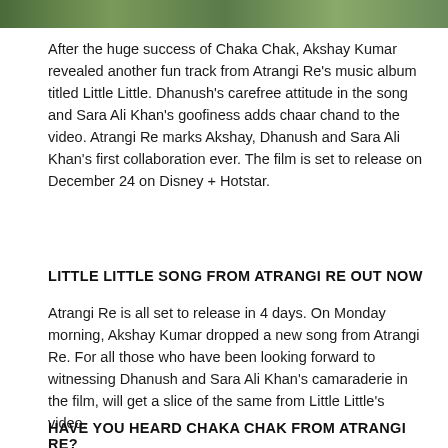[Figure (photo): Horizontal image strip showing a scene from Atrangi Re with green/nature tones]
After the huge success of Chaka Chak, Akshay Kumar revealed another fun track from Atrangi Re's music album titled Little Little. Dhanush's carefree attitude in the song and Sara Ali Khan's goofiness adds chaar chand to the video. Atrangi Re marks Akshay, Dhanush and Sara Ali Khan's first collaboration ever. The film is set to release on December 24 on Disney + Hotstar.
LITTLE LITTLE SONG FROM ATRANGI RE OUT NOW
Atrangi Re is all set to release in 4 days. On Monday morning, Akshay Kumar dropped a new song from Atrangi Re. For all those who have been looking forward to witnessing Dhanush and Sara Ali Khan's camaraderie in the film, will get a slice of the same from Little Little's video.
HAVE YOU HEARD CHAKA CHAK FROM ATRANGI RE?